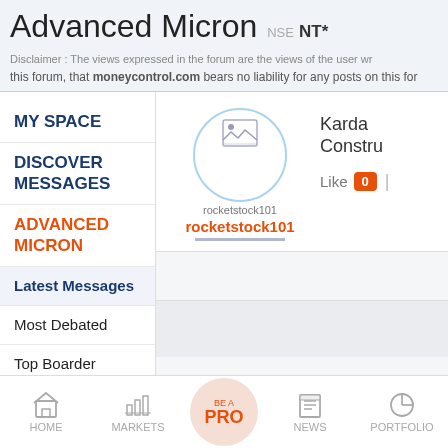Advanced Micron  NSE NT*
Disclaimer : The views expressed in the forum are the views of the user wr this forum, that moneycontrol.com bears no liability for any posts on this for
MY SPACE
DISCOVER MESSAGES
ADVANCED MICRON
Latest Messages
Most Debated
Top Boarder Messages
[Figure (screenshot): User profile avatar circle with broken image icon for rocketstock101, username in orange with underline, and Karda Constru... stock name with Like 0 button]
HOME   MARKETS   BE A PRO   NEWS   PORTFOLIO